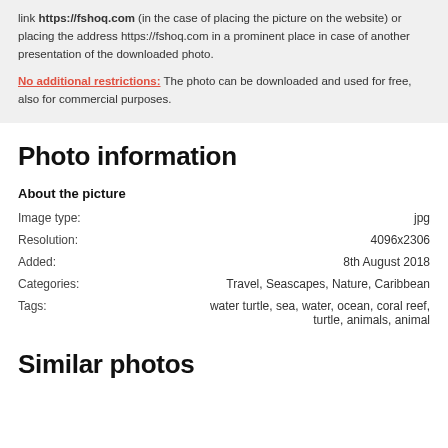link https://fshoq.com (in the case of placing the picture on the website) or placing the address https://fshoq.com in a prominent place in case of another presentation of the downloaded photo.
No additional restrictions: The photo can be downloaded and used for free, also for commercial purposes.
Photo information
About the picture
| Image type: | jpg |
| Resolution: | 4096x2306 |
| Added: | 8th August 2018 |
| Categories: | Travel, Seascapes, Nature, Caribbean |
| Tags: | water turtle, sea, water, ocean, coral reef, turtle, animals, animal |
Similar photos